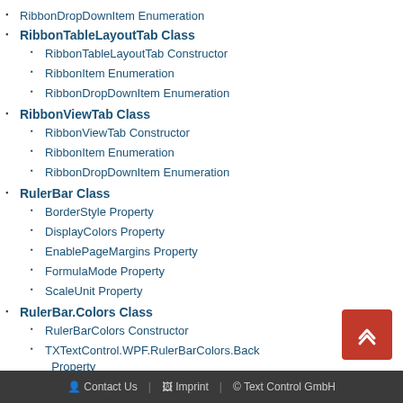RibbonDropDownItem Enumeration
RibbonTableLayoutTab Class
RibbonTableLayoutTab Constructor
RibbonItem Enumeration
RibbonDropDownItem Enumeration
RibbonViewTab Class
RibbonViewTab Constructor
RibbonItem Enumeration
RibbonDropDownItem Enumeration
RulerBar Class
BorderStyle Property
DisplayColors Property
EnablePageMargins Property
FormulaMode Property
ScaleUnit Property
RulerBar.Colors Class
RulerBarColors Constructor
TXTextControl.WPF.RulerBarColors.Back Property
Contact Us | Imprint | © Text Control GmbH